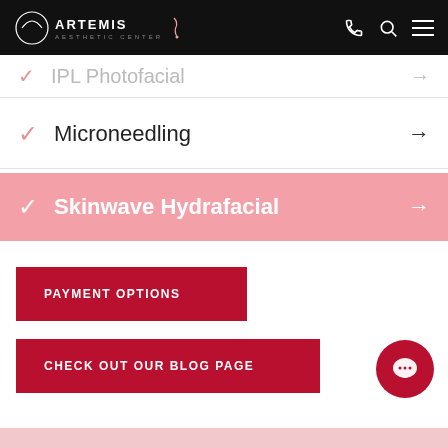Artemis Aesthetic Center
IPL Photofacial →
✓ Microneedling →
✓ Skinwave Hydrafacial →
PAYMENT OPTIONS
CHECK OUT OUR BLOG PAGE